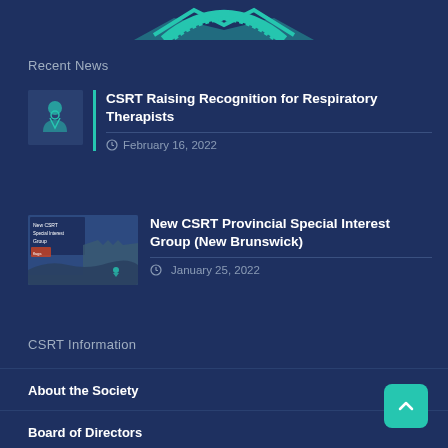[Figure (logo): CSRT logo partial view at top of page — teal/turquoise decorative logo elements visible at top center]
Recent News
CSRT Raising Recognition for Respiratory Therapists
February 16, 2022
[Figure (photo): Thumbnail image for CSRT Provincial Special Interest Group New Brunswick news article]
New CSRT Provincial Special Interest Group (New Brunswick)
January 25, 2022
CSRT Information
About the Society
Board of Directors